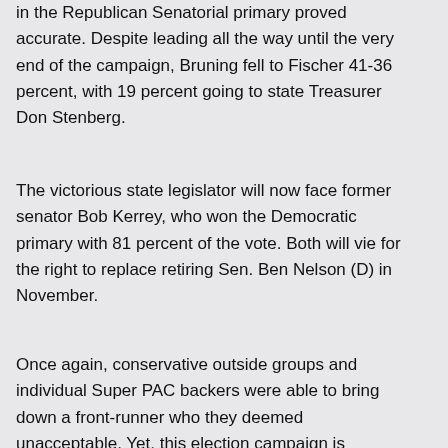in the Republican Senatorial primary proved accurate. Despite leading all the way until the very end of the campaign, Bruning fell to Fischer 41-36 percent, with 19 percent going to state Treasurer Don Stenberg.
The victorious state legislator will now face former senator Bob Kerrey, who won the Democratic primary with 81 percent of the vote. Both will vie for the right to replace retiring Sen. Ben Nelson (D) in November.
Once again, conservative outside groups and individual Super PAC backers were able to bring down a front-runner who they deemed unacceptable. Yet, this election campaign is different. In the 2010 and early 2012 primary elections, in places like Nevada, Colorado, Alaska and Indiana, the incumbent or perceived favored candidate failed because they were to